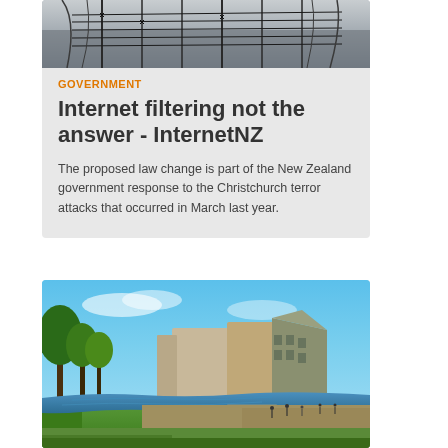[Figure (photo): Dark image showing barbed wire or antenna structures against a grey sky]
GOVERNMENT
Internet filtering not the answer - InternetNZ
The proposed law change is part of the New Zealand government response to the Christchurch terror attacks that occurred in March last year.
[Figure (photo): Outdoor photograph of Christchurch city with river, trees, modern buildings and blue sky]